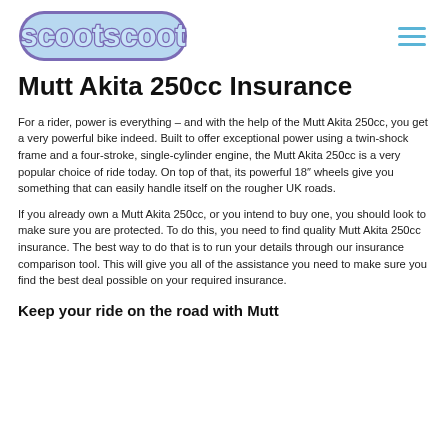scootscoot
Mutt Akita 250cc Insurance
For a rider, power is everything – and with the help of the Mutt Akita 250cc, you get a very powerful bike indeed. Built to offer exceptional power using a twin-shock frame and a four-stroke, single-cylinder engine, the Mutt Akita 250cc is a very popular choice of ride today. On top of that, its powerful 18″ wheels give you something that can easily handle itself on the rougher UK roads.
If you already own a Mutt Akita 250cc, or you intend to buy one, you should look to make sure you are protected. To do this, you need to find quality Mutt Akita 250cc insurance. The best way to do that is to run your details through our insurance comparison tool. This will give you all of the assistance you need to make sure you find the best deal possible on your required insurance.
Keep your ride on the road with Mutt